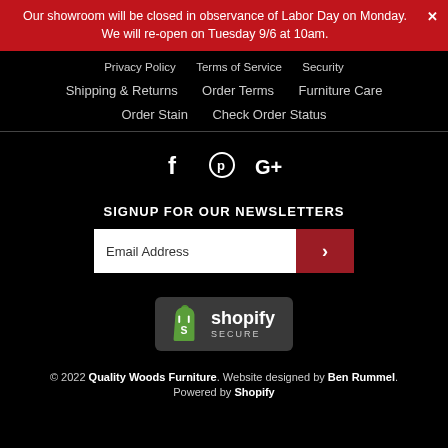Our showroom will be closed in observance of Labor Day on Monday. We will re-open on Tuesday 9/6 at 10am.
Privacy Policy   Terms of Service   Security
Shipping & Returns   Order Terms   Furniture Care
Order Stain   Check Order Status
[Figure (infographic): Social media icons: Facebook (f), Pinterest (circle with P), Google+ (G+)]
SIGNUP FOR OUR NEWSLETTERS
Email Address [input field with red submit button]
[Figure (logo): Shopify Secure badge — dark rounded rectangle with green Shopify bag icon, text 'shopify SECURE']
© 2022 Quality Woods Furniture. Website designed by Ben Rummel. Powered by Shopify